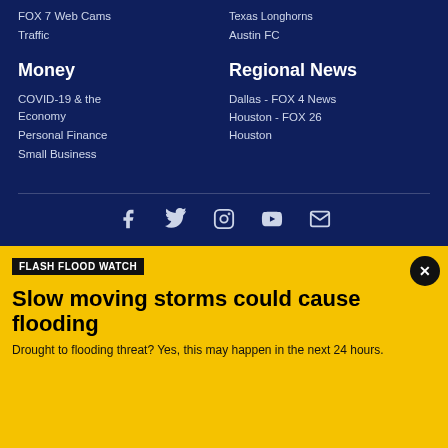FOX 7 Web Cams
Traffic
Texas Longhorns
Austin FC
Money
COVID-19 & the Economy
Personal Finance
Small Business
Regional News
Dallas - FOX 4 News
Houston - FOX 26 Houston
[Figure (infographic): Social media icons: Facebook, Twitter, Instagram, YouTube, Email]
FLASH FLOOD WATCH
Slow moving storms could cause flooding
Drought to flooding threat? Yes, this may happen in the next 24 hours.